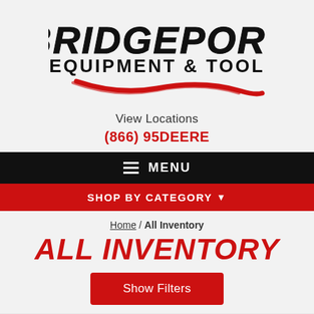[Figure (logo): Bridgeport Equipment & Tool logo with red swoosh underline and stylized block text]
View Locations
(866) 95DEERE
☰ MENU
SHOP BY CATEGORY ▾
Home / All Inventory
ALL INVENTORY
Show Filters
Showing 1-15 of 24 items